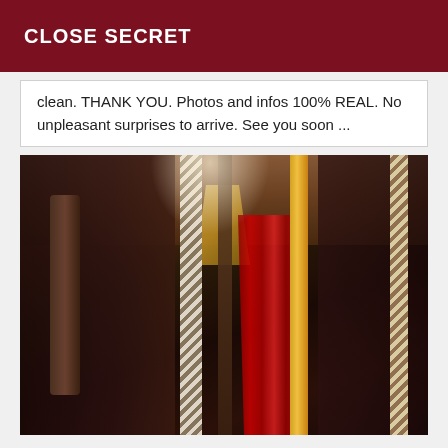CLOSE SECRET
clean. THANK YOU. Photos and infos 100% REAL. No unpleasant surprises to arrive. See you soon ...
[Figure (photo): Indoor photo showing a collection of whips, floggers, ropes, and sticks hanging or standing in a dark storage area. Items include a spiral-patterned rope, red flogger straps, an orange/yellow stick, and various dark leather implements.]